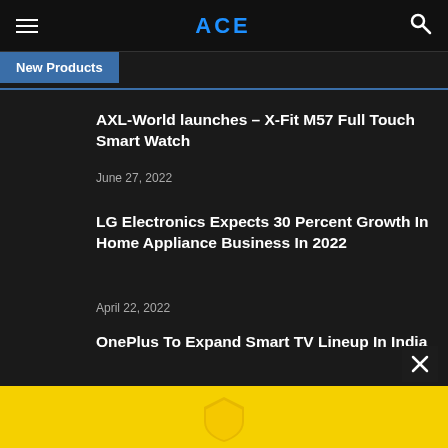ACE
New Products
AXL-World launches – X-Fit M57 Full Touch Smart Watch
June 27, 2022
LG Electronics Expects 30 Percent Growth In Home Appliance Business In 2022
April 22, 2022
OnePlus To Expand Smart TV Lineup In India
February 7, 2022
[Figure (other): Yellow advertisement banner with a shield/badge icon]